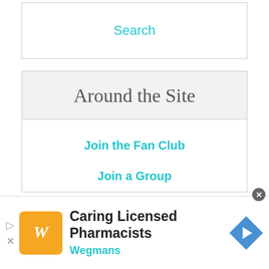Search
Around the Site
Join the Fan Club
Join a Group
Member List
Contact Us
Store Directory
Caring Licensed Pharmacists Wegmans